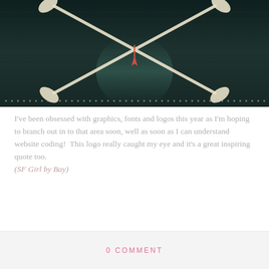[Figure (illustration): Dark teal/dark background image showing crossed oars or paddles forming an X shape, with small decorative elements, partial view cropped at top]
I've been obsessed with graphics, fonts and logos this year as I'm hoping to branch out in to that area soon, well as soon as I can understand website coding!  This logo really caught my eye and it's a great inspiring quote too. (SF Girl by Bay)
0 COMMENT